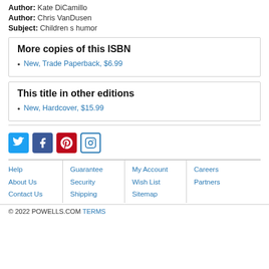Author: Kate DiCamillo
Author: Chris VanDusen
Subject: Children s humor
More copies of this ISBN
New, Trade Paperback, $6.99
This title in other editions
New, Hardcover, $15.99
[Figure (infographic): Social media icons: Twitter (blue bird), Facebook (blue f), Pinterest (red P), Instagram (camera outline)]
Help | Guarantee | My Account | Careers | About Us | Security | Wish List | Partners | Contact Us | Shipping | Sitemap | © 2022 POWELLS.COM TERMS